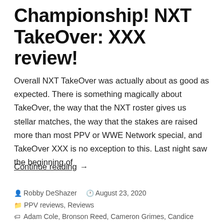Championship! NXT TakeOver: XXX review!
Overall NXT TakeOver was actually about as good as expected. There is something magically about TakeOver, the way that the NXT roster gives us stellar matches, the way that the stakes are raised more than most PPV or WWE Network special, and TakeOver XXX is no exception to this. Last night saw the beginning of
Continue reading →
Robby DeShazer  August 23, 2020
PPV reviews, Reviews
Adam Cole, Bronson Reed, Cameron Grimes, Candice LeRae, Dakota Kai, Damian Priest, Finn Balor, Io Shirai, Johnny Gargano,